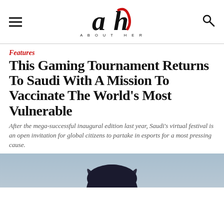About Her — logo header with hamburger menu and search icon
Features
This Gaming Tournament Returns To Saudi With A Mission To Vaccinate The World's Most Vulnerable
After the mega-successful inaugural edition last year, Saudi's virtual festival is an open invitation for global citizens to partake in esports for a most pressing cause.
[Figure (photo): Partial photo of a person with dark hair against a blue-grey background, cropped at bottom of page]